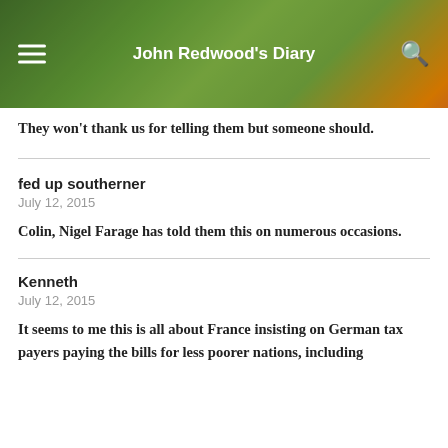John Redwood's Diary
They won't thank us for telling them but someone should.
fed up southerner
July 12, 2015
Colin, Nigel Farage has told them this on numerous occasions.
Kenneth
July 12, 2015
It seems to me this is all about France insisting on German tax payers paying the bills for less poorer nations, including